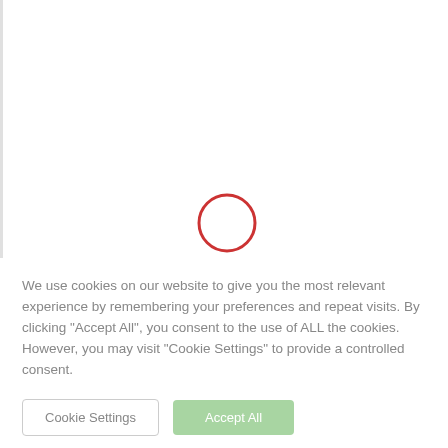[Figure (other): White upper area with a red-outlined circle (loading spinner) centered in the lower portion of the white area, against a light background with a left border]
We use cookies on our website to give you the most relevant experience by remembering your preferences and repeat visits. By clicking "Accept All", you consent to the use of ALL the cookies. However, you may visit "Cookie Settings" to provide a controlled consent.
Cookie Settings
Accept All